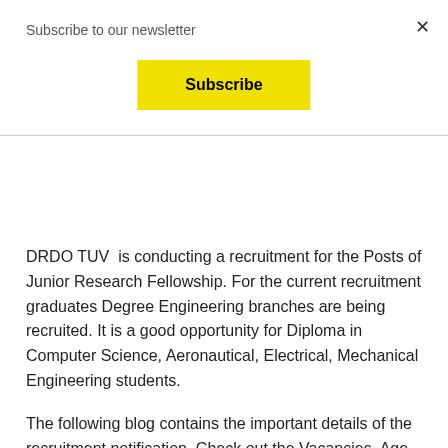Subscribe to our newsletter
×
Subscribe
DRDO TUV  is conducting a recruitment for the Posts of Junior Research Fellowship. For the current recruitment graduates Degree Engineering branches are being recruited. It is a good opportunity for Diploma in Computer Science, Aeronautical, Electrical, Mechanical Engineering students.
The following blog contains the important details of the recruitment notification. Check out the Vacancies, Age limit, Pay scale, Selection process, Important Date and Notification